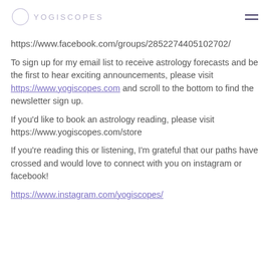YOGISCOPES
https://www.facebook.com/groups/2852274405102702/
To sign up for my email list to receive astrology forecasts and be the first to hear exciting announcements, please visit https://www.yogiscopes.com and scroll to the bottom to find the newsletter sign up.
If you'd like to book an astrology reading, please visit https://www.yogiscopes.com/store
If you're reading this or listening, I'm grateful that our paths have crossed and would love to connect with you on instagram or facebook!
https://www.instagram.com/yogiscopes/